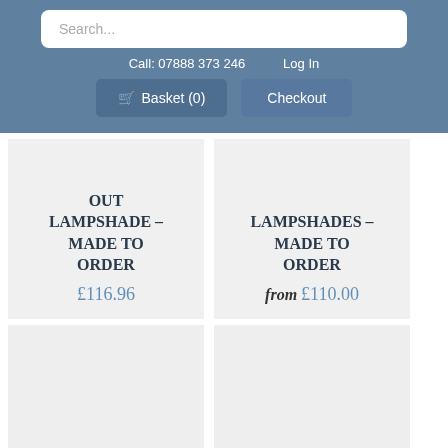Search...
Call: 07888 373 246    Log In
🛒 Basket (0)   Checkout
OUT LAMPSHADE – MADE TO ORDER £116.96
LAMPSHADES – MADE TO ORDER from £110.00
[Figure (other): Empty product card placeholder]
[Figure (other): Empty product card placeholder]